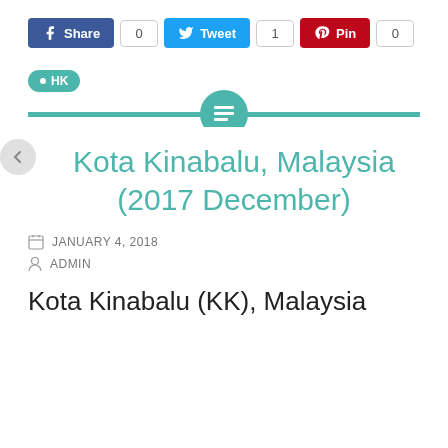[Figure (infographic): Social share buttons: Facebook Share (count 0), Twitter Tweet (count 1), Pinterest Pin (count 0)]
HK
Kota Kinabalu, Malaysia (2017 December)
JANUARY 4, 2018
ADMIN
Kota Kinabalu (KK), Malaysia